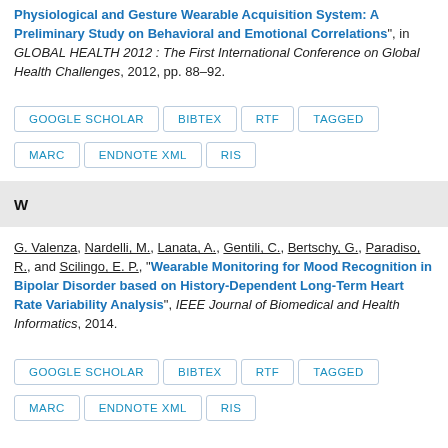Physiological and Gesture Wearable Acquisition System: A Preliminary Study on Behavioral and Emotional Correlations", in GLOBAL HEALTH 2012 : The First International Conference on Global Health Challenges, 2012, pp. 88–92.
GOOGLE SCHOLAR | BIBTEX | RTF | TAGGED | MARC | ENDNOTE XML | RIS
W
G. Valenza, Nardelli, M., Lanata, A., Gentili, C., Bertschy, G., Paradiso, R., and Scilingo, E. P., "Wearable Monitoring for Mood Recognition in Bipolar Disorder based on History-Dependent Long-Term Heart Rate Variability Analysis", IEEE Journal of Biomedical and Health Informatics, 2014.
GOOGLE SCHOLAR | BIBTEX | RTF | TAGGED | MARC | ENDNOTE XML | RIS